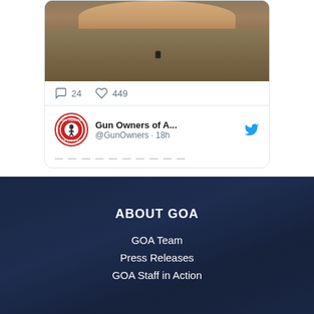[Figure (screenshot): Screenshot of a Twitter/social media feed showing a tweet with a photo of a person in a tan/olive shirt with a microphone clip, engagement metrics (24 comments, 449 likes), and a second tweet header from Gun Owners of America (@GunOwners, 18h ago) with the GOA circular logo.]
ABOUT GOA
GOA Team
Press Releases
GOA Staff in Action